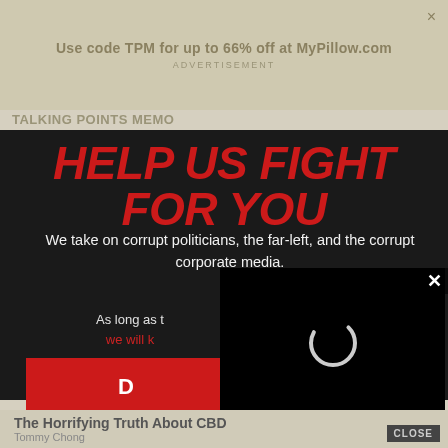Use code TPM for up to 66% off at MyPillow.com
ADVERTISEMENT
TALKING POINTS MEMO
HELP US FIGHT FOR YOU
We take on corrupt politicians, the far-left, and the corrupt corporate media.
As long as [you support us,] we will k[eep fighting]
[Figure (screenshot): Video player overlay with loading spinner (circle) on black background, with close X button]
D[ONATE]
The Horrifying Truth About CBD
Tommy Chong
CLOSE